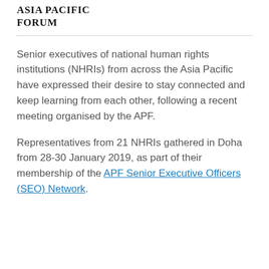ASIA PACIFIC FORUM
Senior executives of national human rights institutions (NHRIs) from across the Asia Pacific have expressed their desire to stay connected and keep learning from each other, following a recent meeting organised by the APF.
Representatives from 21 NHRIs gathered in Doha from 28-30 January 2019, as part of their membership of the APF Senior Executive Officers (SEO) Network.